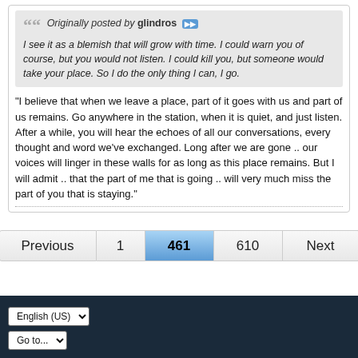Originally posted by glindros [>>] | I see it as a blemish that will grow with time. I could warn you of course, but you would not listen. I could kill you, but someone would take your place. So I do the only thing I can, I go.
"I believe that when we leave a place, part of it goes with us and part of us remains. Go anywhere in the station, when it is quiet, and just listen. After a while, you will hear the echoes of all our conversations, every thought and word we've exchanged. Long after we are gone .. our voices will linger in these walls for as long as this place remains. But I will admit .. that the part of me that is going .. will very much miss the part of you that is staying."
Previous | 1 | 461 | 610 | Next
English (US) | Go to...